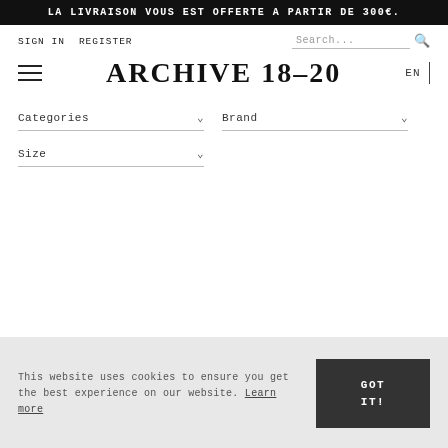LA LIVRAISON VOUS EST OFFERTE A PARTIR DE 300€.
SIGN IN  REGISTER
ARCHIVE 18-20
EN
Categories
Brand
Size
This website uses cookies to ensure you get the best experience on our website. Learn more
GOT IT!